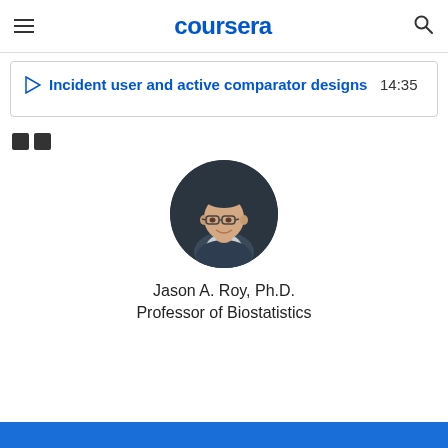coursera
Incident user and active comparator designs  14:35
[Figure (other): Two small square icon buttons (share/social icons)]
[Figure (photo): Circular headshot photo of Jason A. Roy, Ph.D., a man wearing glasses and a dark sweater, smiling, against a dark background]
Jason A. Roy, Ph.D.
Professor of Biostatistics